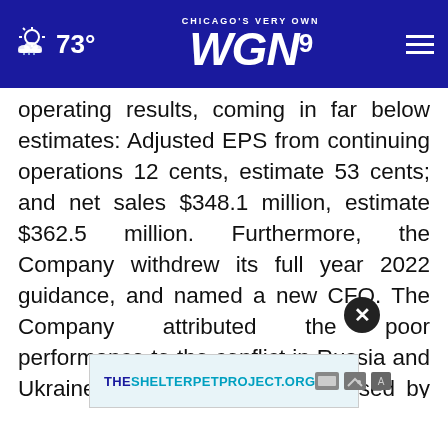CHICAGO'S VERY OWN WGN9 — 73°
operating results, coming in far below estimates: Adjusted EPS from continuing operations 12 cents, estimate 53 cents; and net sales $348.1 million, estimate $362.5 million. Furthermore, the Company withdrew its full year 2022 guidance, and named a new CFO. The Company attributed the poor performance to the conflict in Russia and Ukraine. Interestingly, when pressed by analysts on a conference call, the [Company] and Ukraine only accounted for 2% of its revenue.
[Figure (screenshot): Advertisement banner for THESHELTERPETPROJECT.ORG with ad network icons, overlaid with a circular close (X) button]